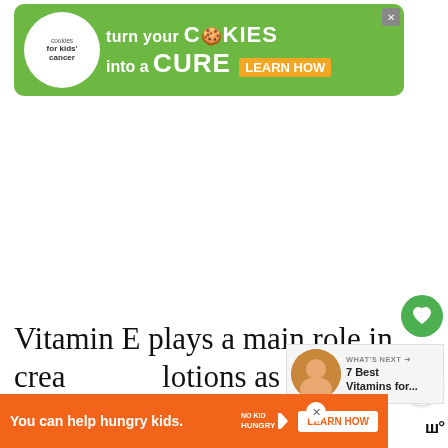[Figure (other): Green advertisement banner for 'Cookies for Kids Cancer' — turn your COOKIES into a CURE, LEARN HOW]
Vitamin E plays a main role in creams and lotions as an antioxidant, but it also helps soften skin and prevent many skin conditions including wrinkles if
[Figure (other): WHAT'S NEXT arrow callout with circular photo and text: 7 Best Vitamins for...]
[Figure (other): Bottom orange advertisement banner: You can help hungry kids. No Kid Hungry. LEARN HOW]